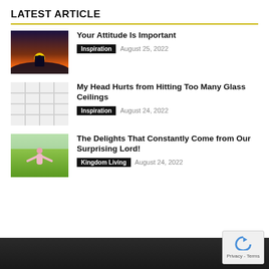LATEST ARTICLE
[Figure (photo): Sunset silhouette photo with person making heart shape with hands]
Your Attitude Is Important
Inspiration   August 25, 2022
[Figure (photo): Glass ceiling/skylight photo viewed from below]
My Head Hurts from Hitting Too Many Glass Ceilings
Inspiration   August 24, 2022
[Figure (photo): Woman in pink dress with arms outstretched on green grass]
The Delights That Constantly Come from Our Surprising Lord!
Kingdom Living   August 24, 2022